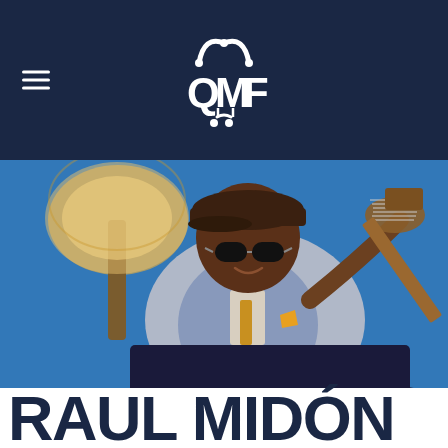QMF logo and navigation
[Figure (photo): Raul Midón seated, wearing sunglasses, a flat cap, grey blazer and blue sweater, holding an acoustic guitar, with a decorative lamp behind him against a blue background.]
RAUL MIDÓN
[Figure (logo): Facebook and Instagram social media icons with underlines]